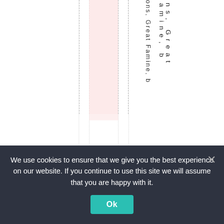[Figure (screenshot): A webpage screenshot showing a document or spreadsheet layout with dashed vertical lines, a pink highlighted column, and vertical text reading 'ons, Great Famine, b' (partial, truncated at top and bottom). A cookie consent banner overlays the bottom portion.]
We use cookies to ensure that we give you the best experience on our website. If you continue to use this site we will assume that you are happy with it.
Ok